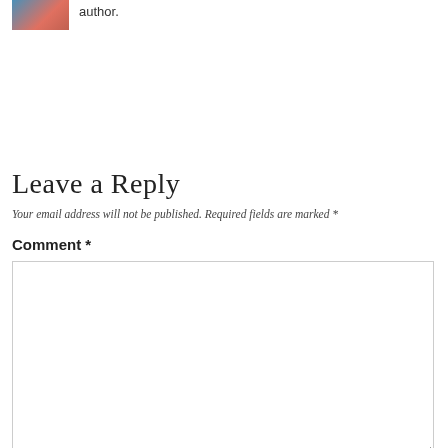[Figure (photo): Small avatar photo of a person (woman) in the top-left corner, partially visible]
author.
Leave a Reply
Your email address will not be published. Required fields are marked *
Comment *